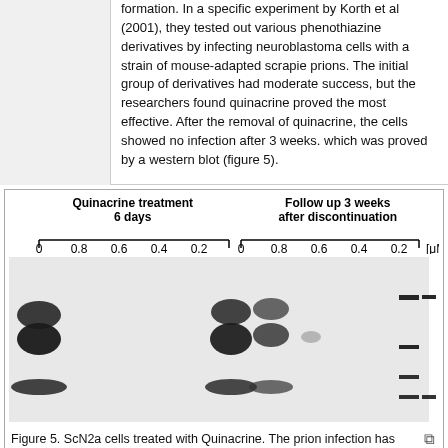formation. In a specific experiment by Korth et al (2001), they tested out various phenothiazine derivatives by infecting neuroblastoma cells with a strain of mouse-adapted scrapie prions. The initial group of derivatives had moderate success, but the researchers found quinacrine proved the most effective. After the removal of quinacrine, the cells showed no infection after 3 weeks. which was proved by a western blot (figure 5).
[Figure (photo): Western blot image showing ScN2a cells treated with Quinacrine. Left panel: Quinacrine treatment 6 days at concentrations 0, 0.8, 0.6, 0.4, 0.2 μM. Right panel: Follow up 3 weeks after discontinuation at same concentrations. Bands visible at 0 μM in both panels and faint bands at 0.8, 0.6 in right panel. Molecular weight markers on far right.]
Figure 5. ScN2a cells treated with Quinacrine. The prion infection has appeared to been eliminated by Quinacrine.
http://www.pnas.org/content/98/17/9836/F3.expansion.html